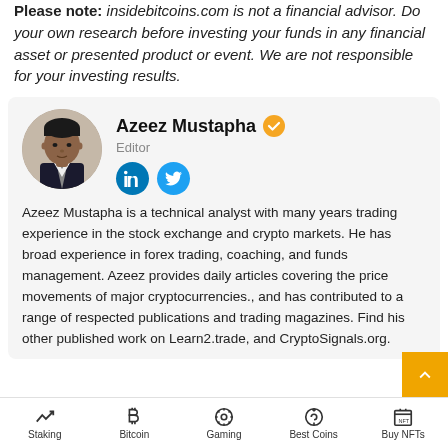Please note: insidebitcoins.com is not a financial advisor. Do your own research before investing your funds in any financial asset or presented product or event. We are not responsible for your investing results.
[Figure (photo): Circular profile photo of Azeez Mustapha, a man in a suit]
Azeez Mustapha [verified badge] Editor
[Figure (other): LinkedIn and Twitter social media icon buttons]
Azeez Mustapha is a technical analyst with many years trading experience in the stock exchange and crypto markets. He has broad experience in forex trading, coaching, and funds management. Azeez provides daily articles covering the price movements of major cryptocurrencies., and has contributed to a range of respected publications and trading magazines. Find his other published work on Learn2.trade, and CryptoSignals.org.
Staking | Bitcoin | Gaming | Best Coins | Buy NFTs